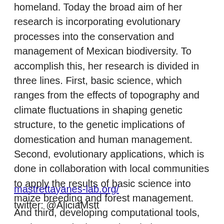homeland. Today the broad aim of her research is incorporating evolutionary processes into the conservation and management of Mexican biodiversity. To accomplish this, her research is divided in three lines. First, basic science, which ranges from the effects of topography and climate fluctuations in shaping genetic structure, to the genetic implications of domestication and human management. Second, evolutionary applications, which is done in collaboration with local communities to apply the results of basic science into maize breeding and forest management. And third, developing computational tools, so that genetic data and evolutionary information can be integrated to biodiversity information systems and used by a wider audience.
mastrettayanes-lab.org/
twitter: @AliciaMstt